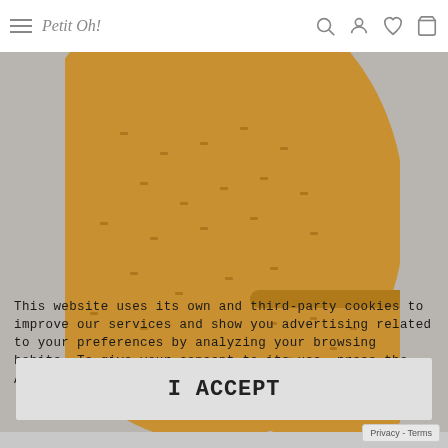Petit Oh!
[Figure (photo): Mustard yellow sleeveless baby dress and matching bloomers with small pattern print, displayed on a grey background.]
This website uses its own and third-party cookies to improve our services and show you advertising related to your preferences by analyzing your browsing habits. To give your consent to its use, press the Accept button.
SLEEVELESS ISA DRESS
I ACCEPT
Privacy - Terms